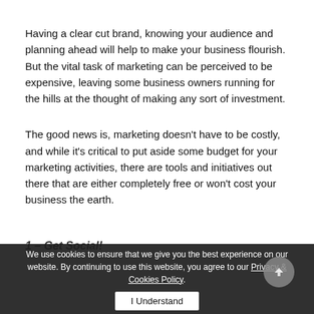Having a clear cut brand, knowing your audience and planning ahead will help to make your business flourish. But the vital task of marketing can be perceived to be expensive, leaving some business owners running for the hills at the thought of making any sort of investment.
The good news is, marketing doesn't have to be costly, and while it's critical to put aside some budget for your marketing activities, there are tools and initiatives out there that are either completely free or won't cost your business the earth.
1 – Get Social!
We use cookies to ensure that we give you the best experience on our website. By continuing to use this website, you agree to our Privacy & Cookies Policy.
I Understand